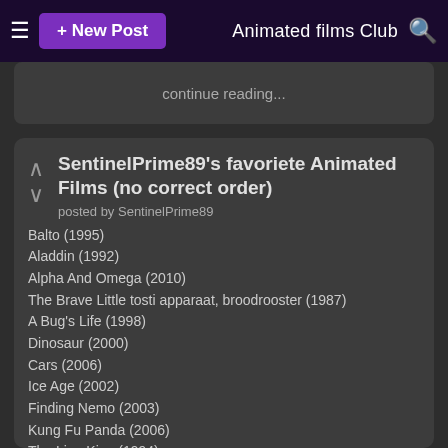≡  + New Post    Animated films Club  🔍
continue reading...
SentinelPrime89's favoriete Animated Films (no correct order)
posted by SentinelPrime89
Balto (1995)
Aladdin (1992)
Alpha And Omega (2010)
The Brave Little tosti apparaat, broodrooster (1987)
A Bug's Life (1998)
Dinosaur (2000)
Cars (2006)
Ice Age (2002)
Finding Nemo (2003)
Kung Fu Panda (2006)
The Lion King (1994)
Madagascar (2005)
Oliver & Company (1988)
101 Dalmatians (1961)
Shark Tale (2004)
Mulan (1998)